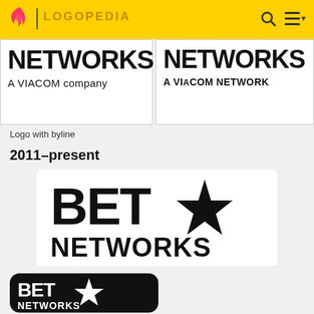LOGOPEDIA
[Figure (logo): BET Networks logo with 'A VIACOM company' byline]
[Figure (logo): BET Networks logo with 'A VIACOM NETWORK' byline]
Logo with byline
2011–present
[Figure (logo): BET Networks star logo 2011-present, black on white, large format]
[Figure (logo): BET Networks star logo 2011-present, white on black rounded square icon]